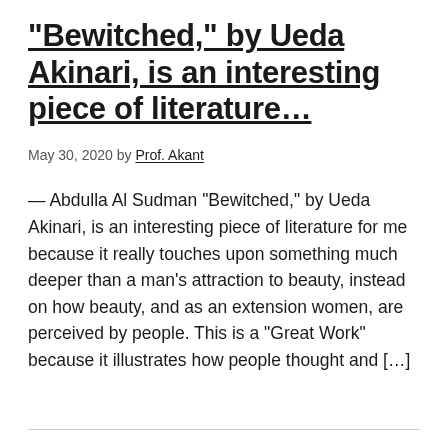“Bewitched,” by Ueda Akinari, is an interesting piece of literature…
May 30, 2020 by Prof. Akant
— Abdulla Al Sudman “Bewitched,” by Ueda Akinari, is an interesting piece of literature for me because it really touches upon something much deeper than a man’s attraction to beauty, instead on how beauty, and as an extension women, are perceived by people. This is a “Great Work” because it illustrates how people thought and […]